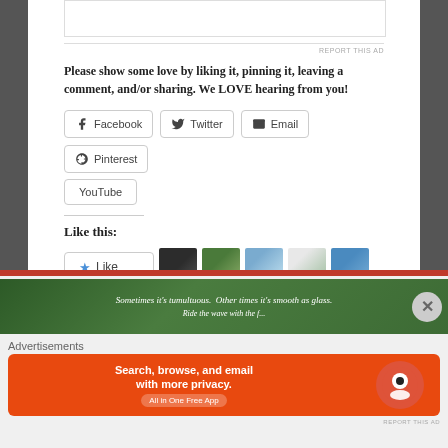REPORT THIS AD
Please show some love by liking it, pinning it, leaving a comment, and/or sharing. We LOVE hearing from you!
Facebook | Twitter | Email | Pinterest | YouTube (social share buttons)
Like this:
37 bloggers like this.
[Figure (screenshot): Blog preview image with text: Sometimes it's tumultuous. Other times it's smooth as glass.]
Advertisements
[Figure (screenshot): DuckDuckGo advertisement: Search, browse, and email with more privacy. All in One Free App]